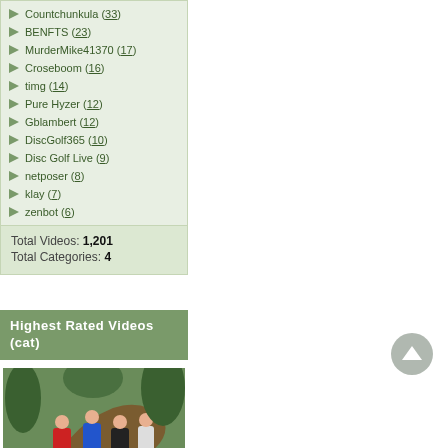Countchunkula (33)
BENFTS (23)
MurderMike41370 (17)
Croseboom (16)
timg (14)
Pure Hyzer (12)
Gblambert (12)
DiscGolf365 (10)
Disc Golf Live (9)
netposer (8)
klay (7)
zenbot (6)
Total Videos: 1,201
Total Categories: 4
Highest Rated Videos (cat)
[Figure (photo): Group of people standing outdoors near a large curved tree trunk, in a forested area. Video thumbnail with duration badge 7:00.]
2007 Am Worlds at Brown Deer Park in Milwaukee WI